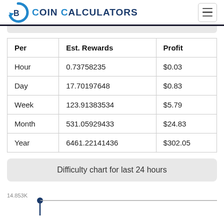Coin Calculators
| Per | Est. Rewards | Profit |
| --- | --- | --- |
| Hour | 0.73758235 | $0.03 |
| Day | 17.70197648 | $0.83 |
| Week | 123.91383534 | $5.79 |
| Month | 531.05929433 | $24.83 |
| Year | 6461.22141436 | $302.05 |
Difficulty chart for last 24 hours
[Figure (continuous-plot): Difficulty chart for last 24 hours, showing a line starting at 14.853K]